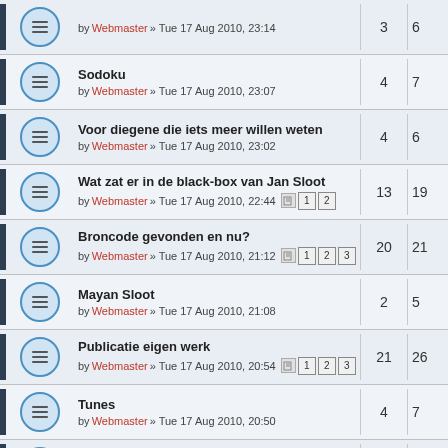|  | Topic | Replies | Views |
| --- | --- | --- | --- |
|  | by Webmaster » Tue 17 Aug 2010, 23:14 | 3 | 6 |
|  | Sodoku
by Webmaster » Tue 17 Aug 2010, 23:07 | 4 | 7 |
|  | Voor diegene die iets meer willen weten
by Webmaster » Tue 17 Aug 2010, 23:02 | 4 | 6 |
|  | Wat zat er in de black-box van Jan Sloot
by Webmaster » Tue 17 Aug 2010, 22:44 [1][2] | 13 | 19 |
|  | Broncode gevonden en nu?
by Webmaster » Tue 17 Aug 2010, 21:12 [1][2][3] | 20 | 21 |
|  | Mayan Sloot
by Webmaster » Tue 17 Aug 2010, 21:08 | 2 | 5 |
|  | Publicatie eigen werk
by Webmaster » Tue 17 Aug 2010, 20:54 [1][2][3] | 21 | 26 |
|  | Tunes
by Webmaster » Tue 17 Aug 2010, 20:50 | 4 | 7 |
|  | LaCie
by Webmaster » Tue 17 Aug 2010, 20:48 | 1 | 5 |
|  | Zet een opbod op je site!!!
by Webmaster » Tue 17 Aug 2010, 20:35 | 6 | 9 |
|  | Fractal software van Iterated Systems
by Webmaster » Tue 17 Aug 2010, 19:45 [1][2][3][4][5] | 44 | 41 |
|  | Pixel convergentie |  |  |